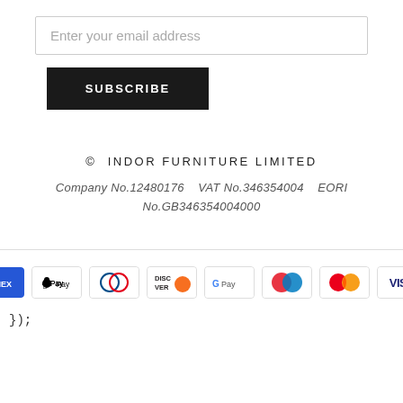Enter your email address
SUBSCRIBE
© INDOR FURNITURE LIMITED
Company No.12480176    VAT No.346354004    EORI No.GB346354004000
[Figure (other): Payment method icons: American Express, Apple Pay, Diners Club, Discover, Google Pay, Maestro, Mastercard, Visa]
});